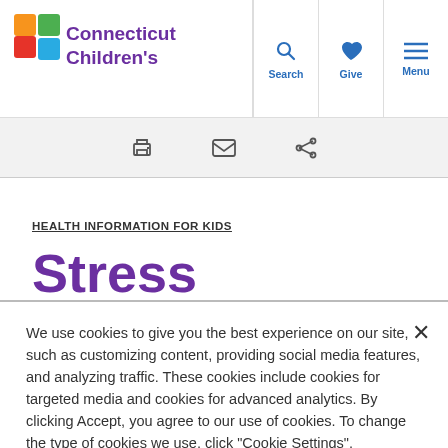Connecticut Children's — Search | Give | Menu
[Figure (logo): Connecticut Children's logo with colorful cross icon and purple text]
HEALTH INFORMATION FOR KIDS
Stress
We use cookies to give you the best experience on our site, such as customizing content, providing social media features, and analyzing traffic. These cookies include cookies for targeted media and cookies for advanced analytics. By clicking Accept, you agree to our use of cookies. To change the type of cookies we use, click "Cookie Settings". Connecticut Children's Privacy Policy